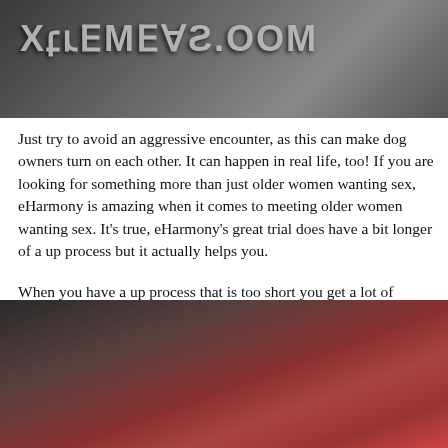[Figure (photo): Dark blurred photo with mirrored watermark text XTREME42.COM in gray overlay]
Just try to avoid an aggressive encounter, as this can make dog owners turn on each other. It can happen in real life, too! If you are looking for something more than just older women wanting sex, eHarmony is amazing when it comes to meeting older women wanting sex. It's true, eHarmony's great trial does have a bit longer of a up process but it actually helps you.
When you have a up process that is too short you get a lot of women who try it only to collect compliments from guys and get attention. They never have any intention or desire to actually go on a date.
[Figure (photo): Blurred close-up photo with dark and red tones]